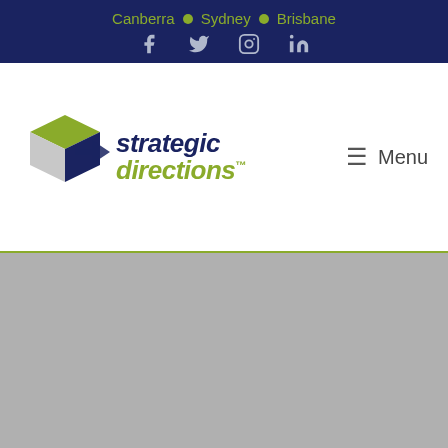Canberra · Sydney · Brisbane — Facebook, Twitter, Instagram, LinkedIn
[Figure (logo): Strategic Directions logo with 3D cube icon and text 'strategic directions']
≡ Menu
[Figure (other): Gray placeholder content area]